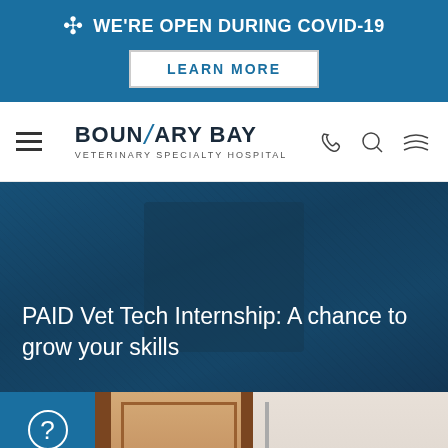WE'RE OPEN DURING COVID-19
LEARN MORE
[Figure (logo): Boundary Bay Veterinary Specialty Hospital logo with stylized bird]
PAID Vet Tech Internship: A chance to grow your skills
[Figure (photo): Photo of a door or entrance area at the veterinary hospital]